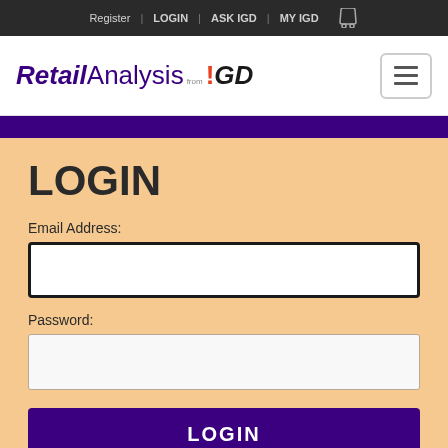Register | LOGIN | ASK IGD | MY IGD
[Figure (logo): RetailAnalysis from IGD logo with hamburger menu button]
LOGIN
Email Address:
Password:
LOGIN